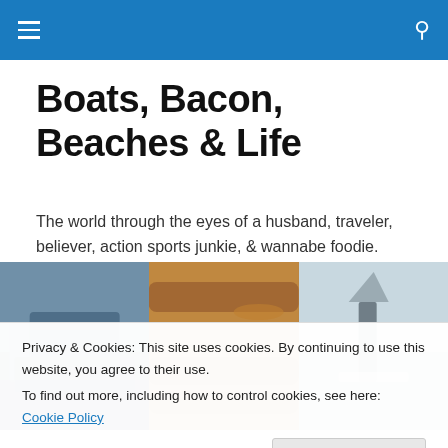Boats, Bacon, Beaches & Life — navigation header
Boats, Bacon, Beaches & Life
The world through the eyes of a husband, traveler, believer, action sports junkie, & wannabe foodie.
[Figure (photo): Three-panel photo strip: left panel shows boats/marina at dusk, center panel shows close-up of bacon/food, right panel shows a surfer walking on beach carrying a surfboard.]
Privacy & Cookies: This site uses cookies. By continuing to use this website, you agree to their use.
To find out more, including how to control cookies, see here: Cookie Policy
I recently read an article in a trendy business magazine